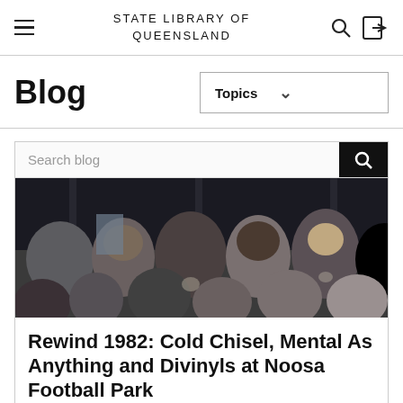STATE LIBRARY OF QUEENSLAND
Blog
Topics
Search blog
[Figure (photo): Black and white/color photo of a crowd at an outdoor concert, people from behind with stage lighting in the background.]
Rewind 1982: Cold Chisel, Mental As Anything and Divinyls at Noosa Football Park